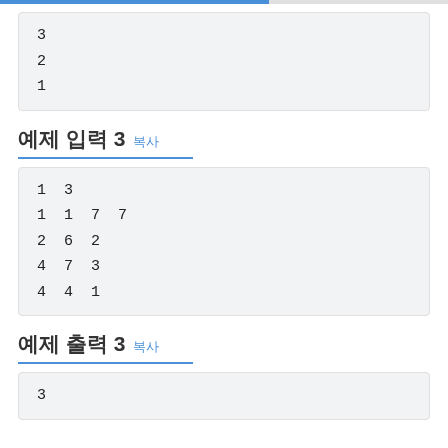[Figure (screenshot): Top progress bar, blue and gray]
3
2
1
예제 입력 3 복사
1  3
1  1  7  7
2  6  2
4  7  3
4  4  1
예제 출력 3 복사
3